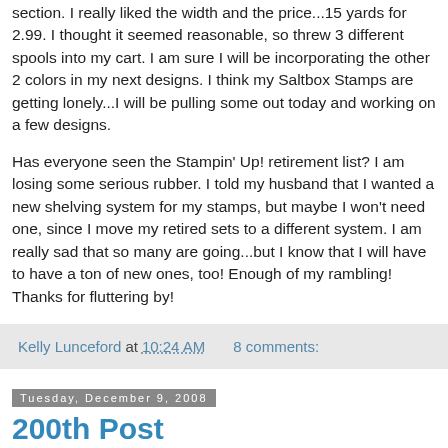section. I really liked the width and the price...15 yards for 2.99. I thought it seemed reasonable, so threw 3 different spools into my cart. I am sure I will be incorporating the other 2 colors in my next designs. I think my Saltbox Stamps are getting lonely...I will be pulling some out today and working on a few designs.
Has everyone seen the Stampin' Up! retirement list? I am losing some serious rubber. I told my husband that I wanted a new shelving system for my stamps, but maybe I won't need one, since I move my retired sets to a different system. I am really sad that so many are going...but I know that I will have to have a ton of new ones, too! Enough of my rambling! Thanks for fluttering by!
Kelly Lunceford at 10:24 AM  8 comments:
Tuesday, December 9, 2008
200th Post